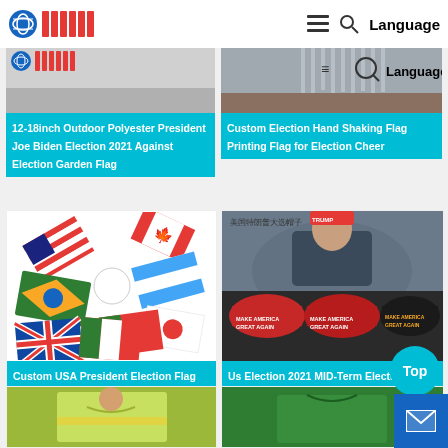Language
[Figure (screenshot): Product listing: 12-18inch Outdoor Polyester President Joe Biden Election 2021 Against Election Garden Flag]
12-18inch Outdoor Polyester President Joe Biden Election 2021 Against Election Garden Flag
[Figure (screenshot): Product listing: Custom Election Hand Shaking Flag Printing Flag for Election Cheer]
Custom Election Hand Shaking Flag Printing Flag for Election Cheer
[Figure (photo): Custom USA President Election Flag Low MOQ Factory Price Election Flag - image showing various country flags]
Custom USA President Election Flag Low MOQ Factory Price Election Flag
[Figure (photo): Us Election 2021 MID-Term Election Presidential Trump Baseball Cap - showing Trump with red MAGA hats]
Us Election 2021 MID-Term Election Presidential Trump Baseball Cap
[Figure (photo): Bottom left product - green/yellow t-shirt]
[Figure (photo): Bottom right product - green t-shirt]